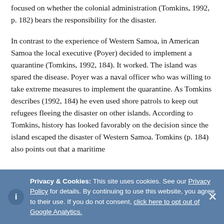focused on whether the colonial administration (Tomkins, 1992, p. 182) bears the responsibility for the disaster.
In contrast to the experience of Western Samoa, in American Samoa the local executive (Poyer) decided to implement a quarantine (Tomkins, 1992, 184). It worked. The island was spared the disease. Poyer was a naval officer who was willing to take extreme measures to implement the quarantine. As Tomkins describes (1992, 184) he even used shore patrols to keep out refugees fleeing the disaster on other islands. According to Tomkins, history has looked favorably on the decision since the island escaped the disaster of Western Samoa. Tomkins (p. 184) also points out that a maritime
Privacy & Cookies: This site uses cookies. See our Privacy Policy for details. By continuing to use this website, you agree to their use. If you do not consent, click here to opt out of Google Analytics.